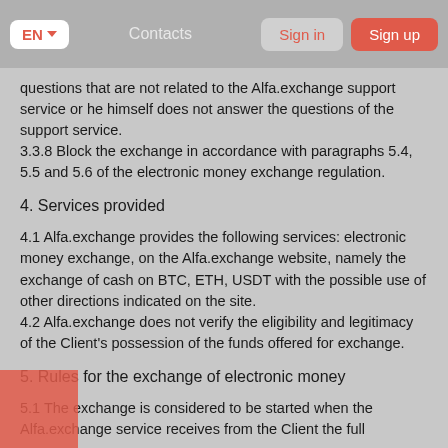EN  Contacts  Sign in  Sign up
questions that are not related to the Alfa.exchange support service or he himself does not answer the questions of the support service.
3.3.8 Block the exchange in accordance with paragraphs 5.4, 5.5 and 5.6 of the electronic money exchange regulation.
4. Services provided
4.1 Alfa.exchange provides the following services: electronic money exchange, on the Alfa.exchange website, namely the exchange of cash on BTC, ETH, USDT with the possible use of other directions indicated on the site.
4.2 Alfa.exchange does not verify the eligibility and legitimacy of the Client's possession of the funds offered for exchange.
5. Rules for the exchange of electronic money
5.1 The exchange is considered to be started when the Alfa.exchange service receives from the Client the full